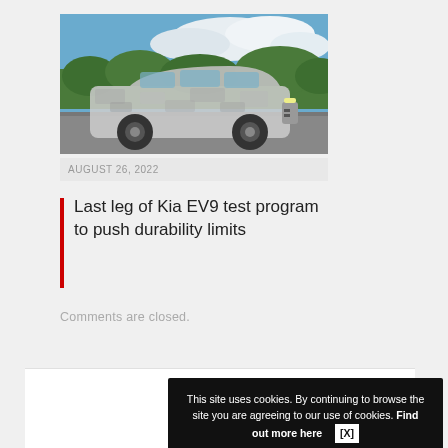[Figure (photo): A camouflaged Kia EV9 SUV prototype photographed outdoors under a blue sky with trees in the background.]
AUGUST 26, 2022
Last leg of Kia EV9 test program to push durability limits
Comments are closed.
This site uses cookies. By continuing to browse the site you are agreeing to our use of cookies. Find out more here  [X]